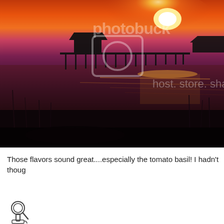[Figure (photo): A dramatic sunset photo over a wetland or tidal flat with a pier/dock silhouetted against a vivid red, orange and pink sky reflected in shallow water. A watermark overlay reads 'photobucket host. store. share' with a camera icon.]
Those flavors sound great....especially the tomato basil!  I hadn't thoug
Quote
[Figure (illustration): Small avatar or icon illustration, partially visible at bottom of page.]